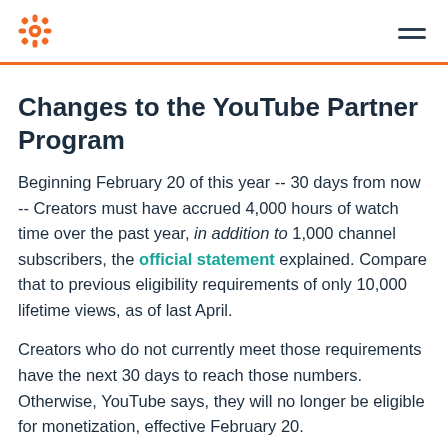HubSpot logo and navigation menu
Changes to the YouTube Partner Program
Beginning February 20 of this year -- 30 days from now -- Creators must have accrued 4,000 hours of watch time over the past year, in addition to 1,000 channel subscribers, the official statement explained. Compare that to previous eligibility requirements of only 10,000 lifetime views, as of last April.
Creators who do not currently meet those requirements have the next 30 days to reach those numbers. Otherwise, YouTube says, they will no longer be eligible for monetization, effective February 20.